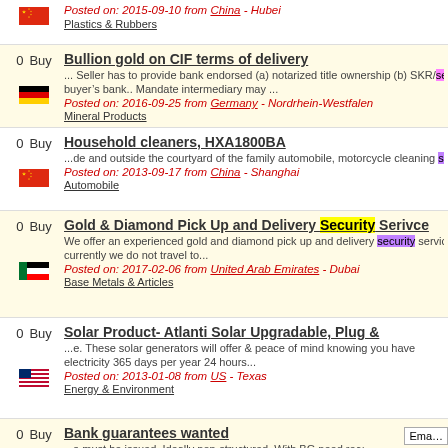Posted on: 2015-09-10 from China - Hubei | Plastics & Rubbers
Bullion gold on CIF terms of delivery | 0 Buy | ... Seller has to provide bank endorsed (a) notarized title ownership (b) SKR/security ware... buyerâs bank.. Mandate intermediary may ... | Posted on: 2016-09-25 from Germany - Nordrhein-Westfalen | Mineral Products
Household cleaners, HXA1800BA | 0 Buy | ...de and outside the courtyard of the family automobile, motorcycle cleaning security state... | Posted on: 2013-09-17 from China - Shanghai | Automobile
Gold & Diamond Pick Up and Delivery Security Serivce | 0 Buy | We offer an experienced gold and diamond pick up and delivery security service from any... currently we do not travel to... | Posted on: 2017-02-06 from United Arab Emirates - Dubai | Base Metals & Articles
Solar Product- Atlanti Solar Upgradable, Plug & | 0 Buy | ...e. These solar generators will offer & peace of mind knowing you have electricity 365 days per year 24 hours... | Posted on: 2013-01-08 from US - Texas | Energy & Environment
Bank guarantees wanted | 0 Buy | ...s-must be issued. Ideally non-structured. With BG need receiving copy private purchase. Invoice then closing cal... | Posted on: 2013-12-08 from UK - South East of England | Services
Business Introduction & Inquiry About PABX S | 0 Buy | ...gent/ importer in Bangladesh. You will be glad to know that, right now the our country and we would like to procure ... | Posted on: 2013-04-11 from Bangladesh - Dhaka | Telecommunications